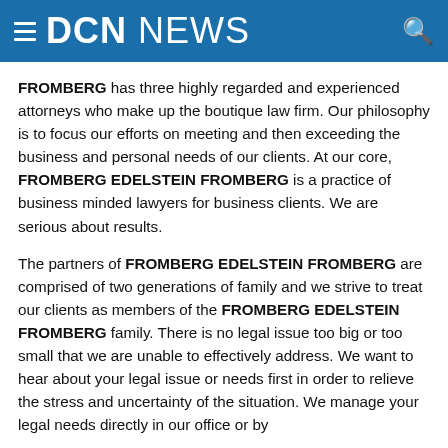DCN NEWS
FROMBERG has three highly regarded and experienced attorneys who make up the boutique law firm. Our philosophy is to focus our efforts on meeting and then exceeding the business and personal needs of our clients. At our core, FROMBERG EDELSTEIN FROMBERG is a practice of business minded lawyers for business clients. We are serious about results.
The partners of FROMBERG EDELSTEIN FROMBERG are comprised of two generations of family and we strive to treat our clients as members of the FROMBERG EDELSTEIN FROMBERG family. There is no legal issue too big or too small that we are unable to effectively address. We want to hear about your legal issue or needs first in order to relieve the stress and uncertainty of the situation. We manage your legal needs directly in our office or by